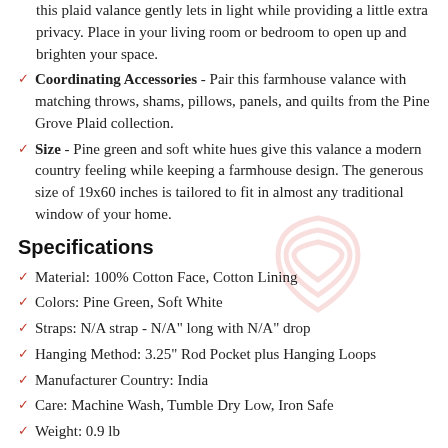this plaid valance gently lets in light while providing a little extra privacy. Place in your living room or bedroom to open up and brighten your space.
Coordinating Accessories - Pair this farmhouse valance with matching throws, shams, pillows, panels, and quilts from the Pine Grove Plaid collection.
Size - Pine green and soft white hues give this valance a modern country feeling while keeping a farmhouse design. The generous size of 19x60 inches is tailored to fit in almost any traditional window of your home.
Specifications
Material: 100% Cotton Face, Cotton Lining
Colors: Pine Green, Soft White
Straps: N/A strap - N/A" long with N/A" drop
Hanging Method: 3.25" Rod Pocket plus Hanging Loops
Manufacturer Country: India
Care: Machine Wash, Tumble Dry Low, Iron Safe
Weight: 0.9 lb
Dimensions: 19" x 60"